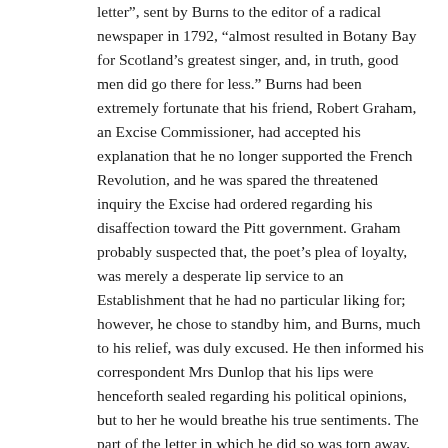letter", sent by Burns to the editor of a radical newspaper in 1792, “almost resulted in Botany Bay for Scotland’s greatest singer, and, in truth, good men did go there for less.” Burns had been extremely fortunate that his friend, Robert Graham, an Excise Commissioner, had accepted his explanation that he no longer supported the French Revolution, and he was spared the threatened inquiry the Excise had ordered regarding his disaffection toward the Pitt government. Graham probably suspected that, the poet’s plea of loyalty, was merely a desperate lip service to an Establishment that he had no particular liking for; however, he chose to standby him, and Burns, much to his relief, was duly excused. He then informed his correspondent Mrs Dunlop that his lips were henceforth sealed regarding his political opinions, but to her he would breathe his true sentiments. The part of the letter in which he did so was torn away, and we can but guess what he had written!
Burns’s politics seemed to fall into two diametrically opposed viewpoints – Jacobitism and Jacobinism. The former stemmed from his deep love of Scotland, his passionate patriotism and nationalism. He was convinced